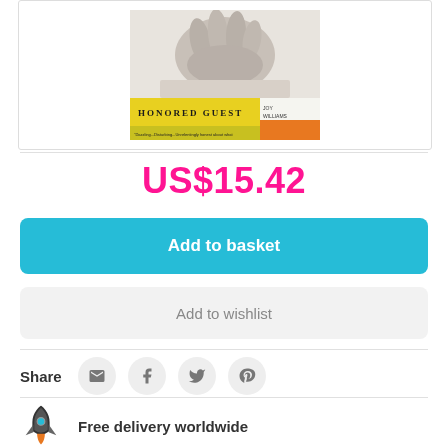[Figure (photo): Book cover of 'Honored Guest' by Joy Williams, showing a hand reaching down, with a yellow and orange band at the bottom.]
US$15.42
Add to basket
Add to wishlist
Share
Free delivery worldwide